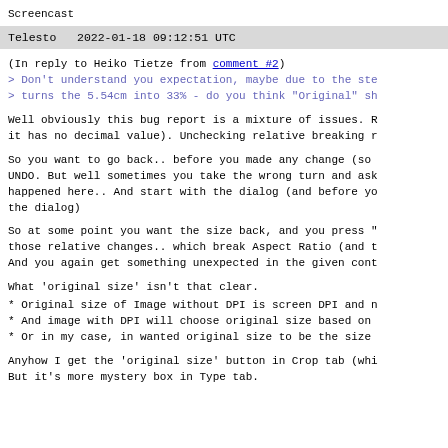Screencast
Telesto   2022-01-18 09:12:51 UTC
(In reply to Heiko Tietze from comment #2)
> Don't understand you expectation, maybe due to the ste
> turns the 5.54cm into 33% - do you think "Original" sh
Well obviously this bug report is a mixture of issues. R
it has no decimal value). Unchecking relative breaking r
So you want to go back.. before you made any change (so
UNDO. But well sometimes you take the wrong turn and ask
happened here.. And start with the dialog (and before yo
the dialog)
So at some point you want the size back, and you press "
those relative changes.. which break Aspect Ratio (and t
And you again get something unexpected in the given cont
What 'original size' isn't that clear.
* Original size of Image without DPI is screen DPI and n
* And image with DPI will choose original size based on
* Or in my case, in wanted original size to be the size
Anyhow I get the 'original size' button in Crop tab (whi
But it's more mystery box in Type tab.